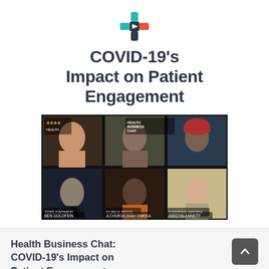[Figure (logo): Cross/plus shaped logo with teal, orange, and dark navy segments]
COVID-19's Impact on Patient Engagement
[Figure (screenshot): Video conference screenshot showing 6 participants in a grid: top row has a woman with light hair speaking, a person in a dark shirt, and a man in a red turban; bottom row has a man in a dark jacket, a bald man in an orange shirt, and a woman with glasses.]
Health Business Chat: COVID-19's Impact on Patient Engagement
Our interactive health business